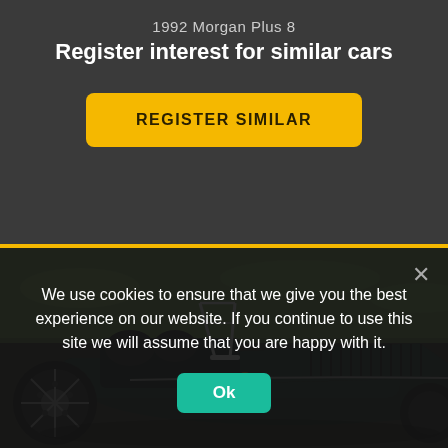1992 Morgan Plus 8
Register interest for similar cars
REGISTER SIMILAR
[Figure (photo): A dark green 1992 Morgan Plus 8 classic sports car photographed from the side, showing the open cockpit, chrome windscreen, louvred bonnet side panels, and wire wheel, parked on grass.]
We use cookies to ensure that we give you the best experience on our website. If you continue to use this site we will assume that you are happy with it.
Ok